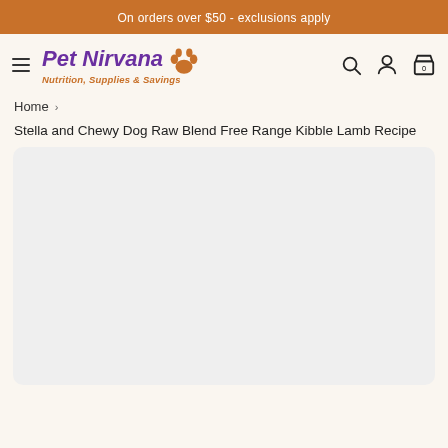On orders over $50 - exclusions apply
[Figure (logo): Pet Nirvana logo with purple bold italic text reading 'Pet Nirvana', orange paw print icon, and subtitle 'Nutrition, Supplies & Savings' in orange italic text. Navigation icons for search, account, and cart (showing 0) on the right.]
Home
Stella and Chewy Dog Raw Blend Free Range Kibble Lamb Recipe
[Figure (photo): Large product image area, currently showing as a light gray placeholder rectangle with rounded corners.]